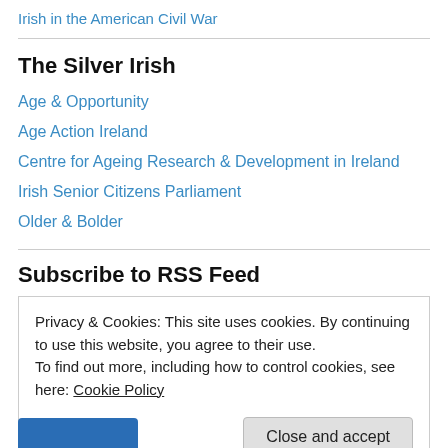Irish in the American Civil War
The Silver Irish
Age & Opportunity
Age Action Ireland
Centre for Ageing Research & Development in Ireland
Irish Senior Citizens Parliament
Older & Bolder
Subscribe to RSS Feed
Privacy & Cookies: This site uses cookies. By continuing to use this website, you agree to their use.
To find out more, including how to control cookies, see here: Cookie Policy
Close and accept